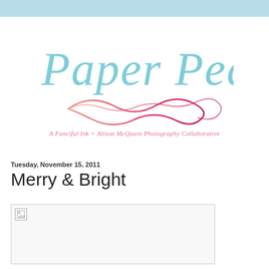[Figure (logo): Paper Pearl logo — cursive teal text reading 'Paper Pearl' with a pink-to-red gradient infinity/swash flourish beneath. Subtitle: 'A Fanciful Ink + Alison McQuain Photography Collaborative' in pink italic script.]
Tuesday, November 15, 2011
Merry & Bright
[Figure (photo): Broken/unloaded image placeholder inside a light bordered box.]